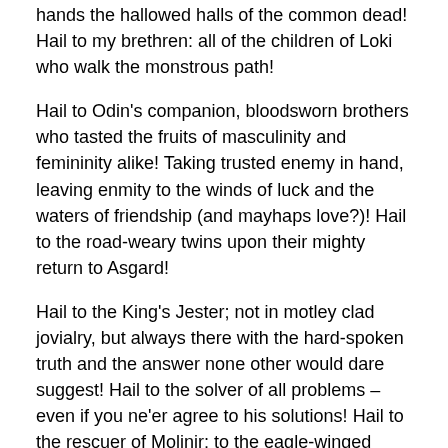hands the hallowed halls of the common dead! Hail to my brethren: all of the children of Loki who walk the monstrous path!
Hail to Odin's companion, bloodsworn brothers who tasted the fruits of masculinity and femininity alike! Taking trusted enemy in hand, leaving enmity to the winds of luck and the waters of friendship (and mayhaps love?)! Hail to the road-weary twins upon their mighty return to Asgard!
Hail to the King's Jester; not in motley clad jovialry, but always there with the hard-spoken truth and the answer none other would dare suggest! Hail to the solver of all problems – even if you ne'er agree to his solutions! Hail to the rescuer of Molinir; to the eagle-winged saver of blessed apples; to the Mare who won a much-needed Wall!